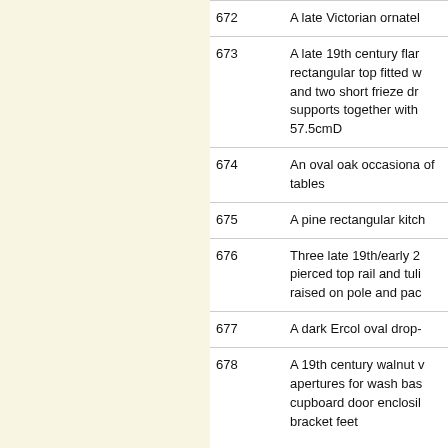| Lot | Description |
| --- | --- |
| 672 | A late Victorian ornatel |
| 673 | A late 19th century flar rectangular top fitted w and two short frieze dr supports together with 57.5cmD |
| 674 | An oval oak occasiona of tables |
| 675 | A pine rectangular kitch |
| 676 | Three late 19th/early 2 pierced top rail and tuli raised on pole and pac |
| 677 | A dark Ercol oval drop- |
| 678 | A 19th century walnut v apertures for wash bas cupboard door enclosil bracket feet |